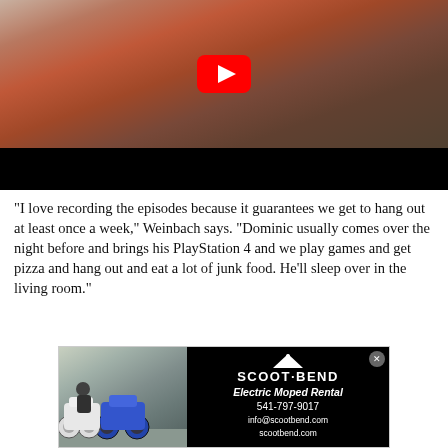[Figure (screenshot): YouTube video thumbnail showing a woman in a red cardigan with a necklace, standing in what appears to be a shop. A YouTube play button overlay is visible. The bottom portion of the video is black.]
"I love recording the episodes because it guarantees we get to hang out at least once a week," Weinbach says. "Dominic usually comes over the night before and brings his PlayStation 4 and we play games and get pizza and hang out and eat a lot of junk food. He'll sleep over in the living room."
[Figure (photo): Advertisement for Scoot Bend Electric Moped Rental. Left side shows a photo of two electric mopeds with a person. Right side is black with the Scoot Bend logo, 'Electric Moped Rental', phone number 541-797-9017, info@scootbend.com, scootbend.com]